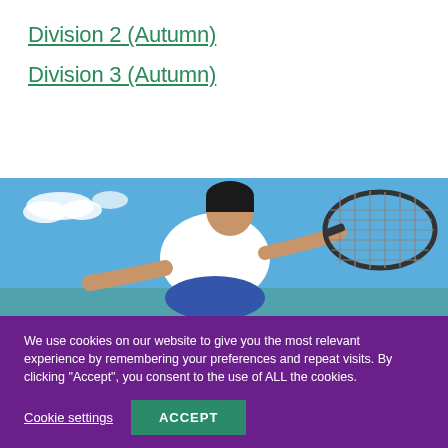Division 2 (Autumn)
Division 3 (Autumn)
[Figure (photo): A male tennis player in a white and blue shirt reaching forward with a tennis racket against a blue sky background]
We use cookies on our website to give you the most relevant experience by remembering your preferences and repeat visits. By clicking "Accept", you consent to the use of ALL the cookies.
Cookie settings   ACCEPT